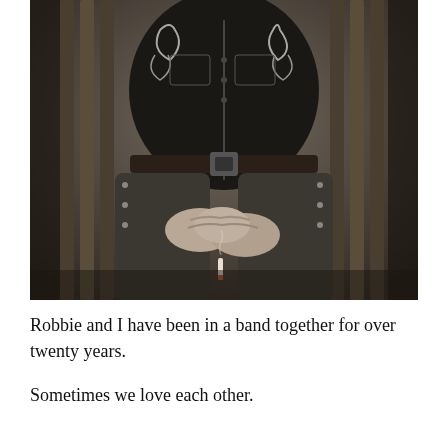[Figure (photo): Black and white photograph of a person sitting on a wooden bench, wearing a dark embroidered western-style shirt with floral/scroll designs. Their head is not visible (cropped out). They are seated with legs apart, hands clasped together holding a cigarette.]
Robbie and I have been in a band together for over twenty years.
Sometimes we love each other.